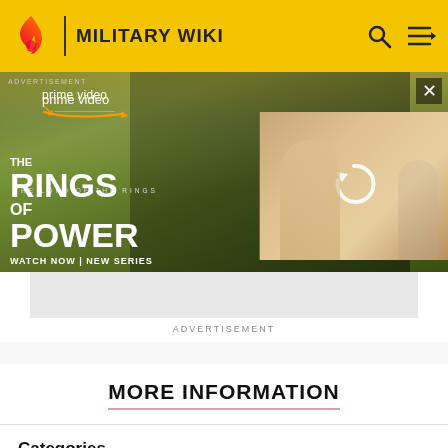MILITARY WIKI
[Figure (screenshot): Amazon Prime Video advertisement for 'The Lord of the Rings: The Rings of Power' series showing cinematic figures with text 'WATCH NOW | NEW SERIES']
ADVERTISEMENT
MORE INFORMATION
Categories
Community content is available under CC-BY-SA unless